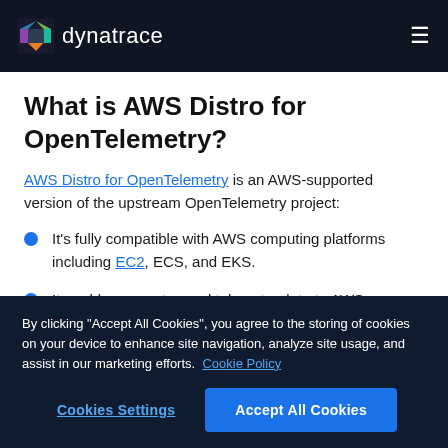dynatrace
What is AWS Distro for OpenTelemetry?
AWS Distro for OpenTelemetry is an AWS-supported version of the upstream OpenTelemetry project:
It's fully compatible with AWS computing platforms including EC2, ECS, and EKS.
It enables users to send telemetry data to AWS CloudWatch metrics, traces, and log backends, as well as
By clicking "Accept All Cookies", you agree to the storing of cookies on your device to enhance site navigation, analyze site usage, and assist in our marketing efforts.  Cookie Policy
Cookies Settings | Accept All Cookies